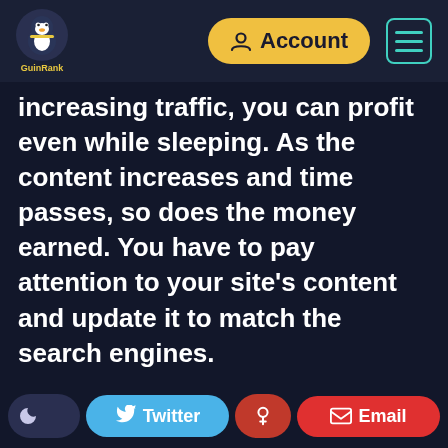[Figure (screenshot): GuinRank website navigation bar with logo, Account button in yellow, and hamburger menu with teal border]
increasing traffic, you can profit even while sleeping. As the content increases and time passes, so does the money earned. You have to pay attention to your site's content and update it to match the search engines.
The GuinRank Content tool provides you with keyword analysis and provides a lot of information that helps you create exclusive and unique content that
engines on the internet, increasing
[Figure (screenshot): Bottom toolbar with dark mode toggle, Twitter share button in blue, key/pin button in red, and Email button in red]